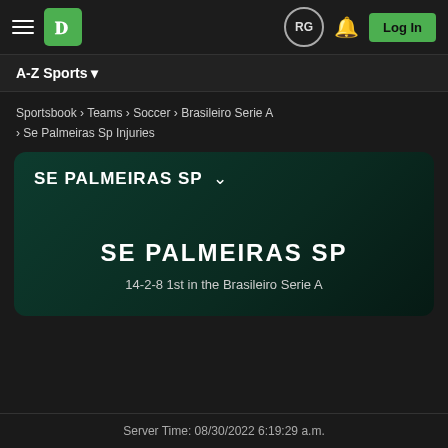DraftKings navigation bar with hamburger menu, DK logo, RG circle, bell icon, and Log In button
A-Z Sports ▼
Sportsbook › Teams › Soccer › Brasileiro Serie A
› Se Palmeiras Sp Injuries
SE PALMEIRAS SP
SE PALMEIRAS SP
14-2-8 1st in the Brasileiro Serie A
Server Time: 08/30/2022 6:19:29 a.m.